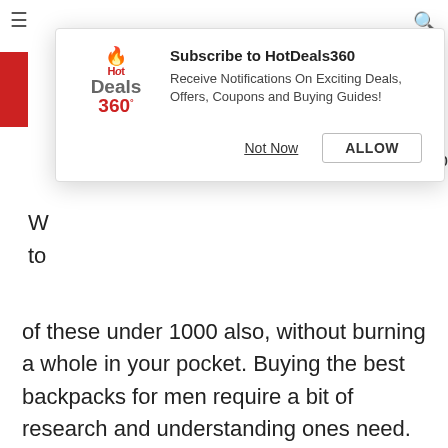[Figure (screenshot): HotDeals360 browser notification popup with logo, subscribe message, 'Not Now' and 'ALLOW' buttons]
of these under 1000 also, without burning a whole in your pocket. Buying the best backpacks for men require a bit of research and understanding ones need. We have in this article listed some of the best backpacks for men, that you can shop online at best prices.
List of the Best Backpacks for Men
Backpacks are back in trend, they protects your valuables while keeping your hands free. We hope our backpack list helps you pick the right one for